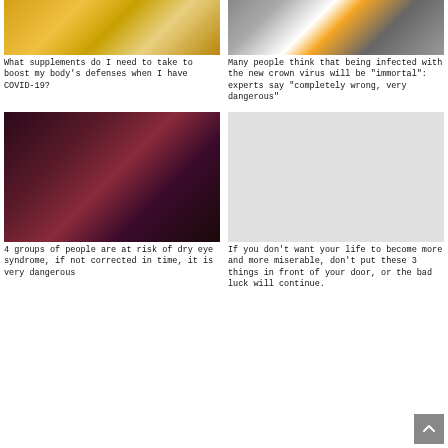[Figure (photo): Top-down view of various food supplements including honey, lemons, nuts, and spices in bowls on a blue surface]
What supplements do I need to take to boost my body's defenses when I have COVID-19?
[Figure (photo): Workers in white hazmat suits near yellow-striped vehicles, likely disinfection or COVID response scene]
Many people think that being infected with the new crown virus will be "immortal": experts say "completely wrong, very dangerous"
[Figure (photo): Dark dramatic portrait of a man with glowing blue eyes in shadows]
4 groups of people are at risk of dry eye syndrome, if not corrected in time, it is very dangerous
[Figure (photo): Gray placeholder image box]
If you don't want your life to become more and more miserable, don't put these 3 things in front of your door, or the bad luck will continue.